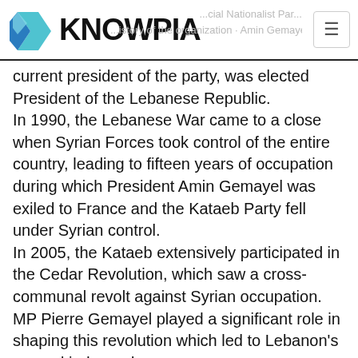KNOWPIA
current president of the party, was elected President of the Lebanese Republic.
In 1990, the Lebanese War came to a close when Syrian Forces took control of the entire country, leading to fifteen years of occupation during which President Amin Gemayel was exiled to France and the Kataeb Party fell under Syrian control.
In 2005, the Kataeb extensively participated in the Cedar Revolution, which saw a cross-communal revolt against Syrian occupation. MP Pierre Gemayel played a significant role in shaping this revolution which led to Lebanon's second independence.
In 2006, the Kataeb Minister Pierre Gemayel was assassinated by opening fire his car at close range.
In 2007, the Kataeb MP Antoine Ghanem was